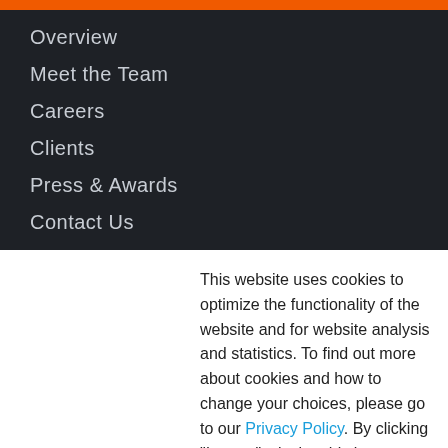Overview
Meet the Team
Careers
Clients
Press & Awards
Contact Us
RESOURCES
Library
This website uses cookies to optimize the functionality of the website and for website analysis and statistics. To find out more about cookies and how to change your choices, please go to our Privacy Policy. By clicking "I agree", closing this banner, or continuing to browse our website, you consent to the use of such cookies.